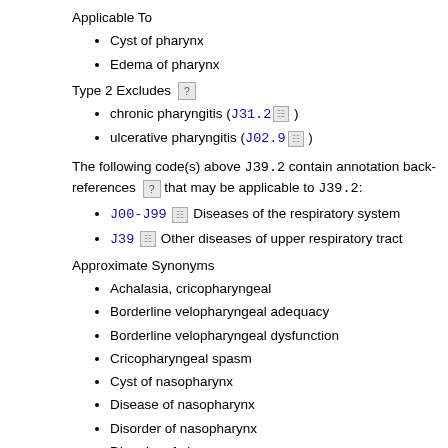Applicable To
Cyst of pharynx
Edema of pharynx
Type 2 Excludes
chronic pharyngitis (J31.2)
ulcerative pharyngitis (J02.9)
The following code(s) above J39.2 contain annotation back-references that may be applicable to J39.2:
J00-J99  Diseases of the respiratory system
J39  Other diseases of upper respiratory tract
Approximate Synonyms
Achalasia, cricopharyngeal
Borderline velopharyngeal adequacy
Borderline velopharyngeal dysfunction
Cricopharyngeal spasm
Cyst of nasopharynx
Disease of nasopharynx
Disorder of nasopharynx
Disorder of pharynx
Edema of nasopharynx
Edema of pharynx
Hyperactive gag reflex